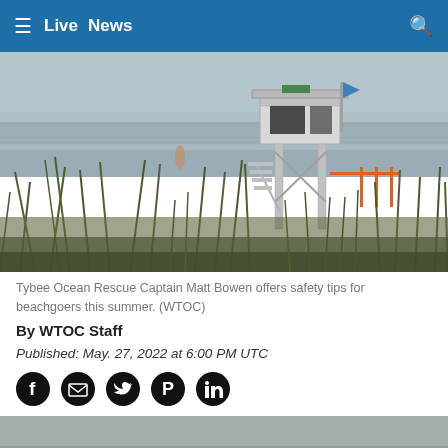≡  Live  News
[Figure (photo): Lifeguard tower at Tybee Island beach with rough ocean waves in background and beach grass in foreground on a cloudy day]
Tybee Ocean Rescue Captain Matt Bowen offers safety tips for beachgoers this summer.  (WTOC)
By WTOC Staff
Published: May. 27, 2022 at 6:00 PM UTC
[Figure (screenshot): Social media sharing icons: Facebook, Email, Twitter, Pinterest, LinkedIn]
[Figure (photo): Partial view of a second photo/video with a close button (X) in bottom right corner]